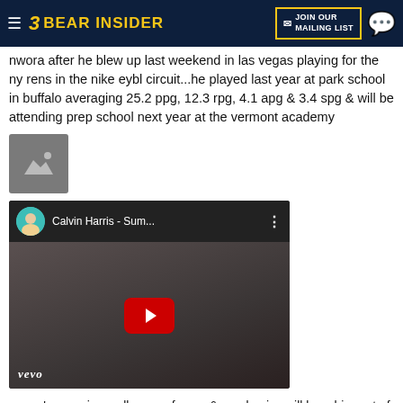Bear Insider | JOIN OUR MAILING LIST
nwora after he blew up last weekend in las vegas playing for the ny rens in the nike eybl circuit...he played last year at park school in buffalo averaging 25.2 ppg, 12.3 rpg, 4.1 apg & 3.4 spg & will be attending prep school next year at the vermont academy
[Figure (photo): Image placeholder icon (mountain/landscape)]
[Figure (screenshot): YouTube embed showing Calvin Harris - Sum... video with vevo branding and red play button]
nwora's mom is a college professor & academics will be a big part of his collegiate decision, his dad is the head basketball coach at erie community college...more importantly jordan got good hair
the plan is to start taking college visits this summer, a trip to berkeley